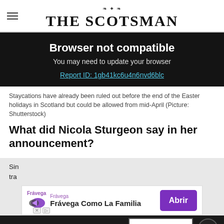THE SCOTSMAN
Browser not compatible
You may need to update your browser
Report ID: 1gb41kc6u4n6nvd6blc
Staycations have already been ruled out before the end of the Easter holidays in Scotland but could be allowed from mid-April (Picture: Shutterstock)
What did Nicola Sturgeon say in her announcement?
Sin... tra...
[Figure (other): Frávega advertisement banner: Frávega Como La Familia with Abrir button]
Claim free festival tickets
Find out more